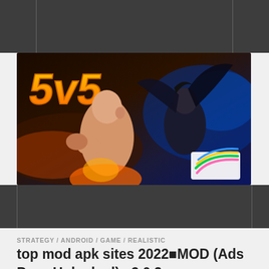[Figure (screenshot): Dark navigation bar at top of webpage with column separators]
[Figure (illustration): Game banner image showing '5v5' text in gold with two fighting game characters — a muscular fire character on the left and a dark winged character on the right, with a colorful logo in the bottom right corner]
[Figure (screenshot): Dark bar below the banner representing website navigation/ad area]
STRATEGY / ANDROID / GAME / REALISTIC
top mod apk sites 2022■MOD (Ads Pass Unlocked) v2.0.3■
[Figure (screenshot): Partial preview of a game screenshot at the bottom of the page showing a character holding a weapon against a grey background]